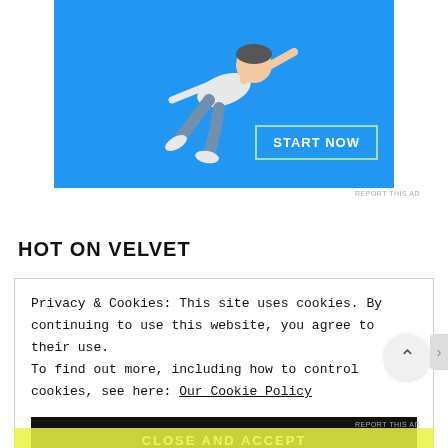[Figure (illustration): Advertisement banner with blue background showing a person in mid-air doing a diving/flying pose, with a 'START NOW' button in the bottom right corner of the banner.]
REPORT THIS AD
HOT ON VELVET
Privacy & Cookies: This site uses cookies. By continuing to use this website, you agree to their use.
To find out more, including how to control cookies, see here: Our Cookie Policy
CLOSE AND ACCEPT
REPORT THIS AD